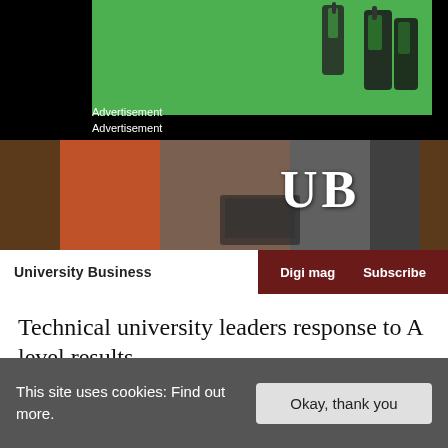[Figure (photo): Green advertisement banner with radio/walkie-talkie devices on right side]
Advertisement
Advertisement
[Figure (photo): University Business banner image showing students working with laptops, overlaid with large white UB logo]
University Business | Digi mag | Subscribe
Technical university leaders response to A level results
by Karen Brewer
Leaders from  the University Alliance, the association of leading technical universities responded to news that...
This site uses cookies: Find out more.